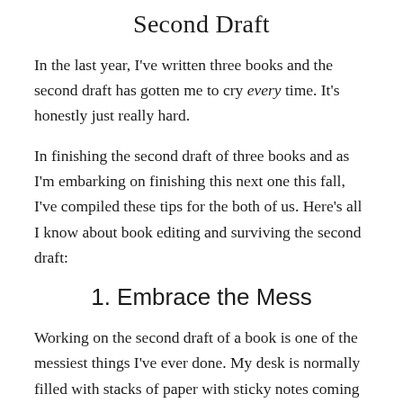Second Draft
In the last year, I've written three books and the second draft has gotten me to cry every time. It's honestly just really hard.
In finishing the second draft of three books and as I'm embarking on finishing this next one this fall, I've compiled these tips for the both of us. Here's all I know about book editing and surviving the second draft:
1. Embrace the Mess
Working on the second draft of a book is one of the messiest things I've ever done. My desk is normally filled with stacks of paper with sticky notes coming out of everywhere. I often secludo